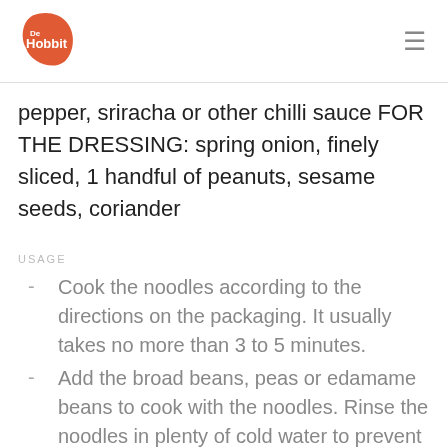De Hobbit
pepper, sriracha or other chilli sauce FOR THE DRESSING: spring onion, finely sliced, 1 handful of peanuts, sesame seeds, coriander
USAGE
Cook the noodles according to the directions on the packaging. It usually takes no more than 3 to 5 minutes.
Add the broad beans, peas or edamame beans to cook with the noodles. Rinse the noodles in plenty of cold water to prevent them sticking.